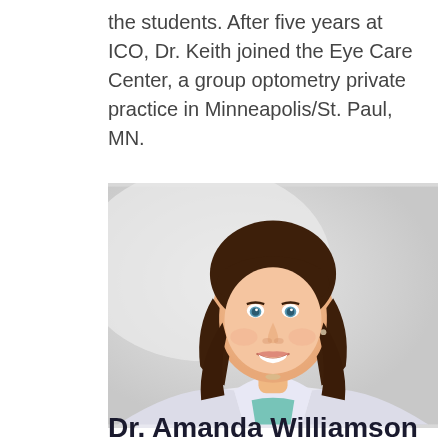the students. After five years at ICO, Dr. Keith joined the Eye Care Center, a group optometry private practice in Minneapolis/St. Paul, MN.
[Figure (photo): Professional headshot of Dr. Amanda Williamson, a woman with long brown hair and blue eyes, smiling, wearing a white lab coat with a teal/mint top underneath. Light gray background.]
Dr. Amanda Williamson